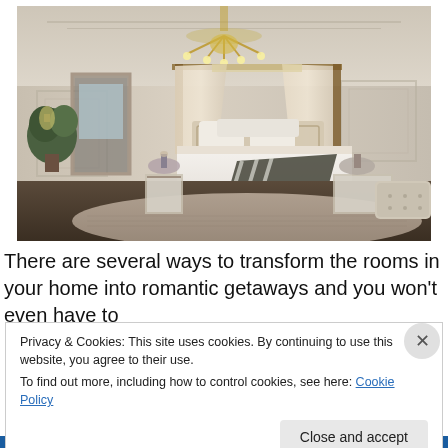[Figure (photo): Elegant luxury bedroom with chandelier, four-poster canopy bed with cream drapes, white bedding, patterned rug, mirrored nightstands, and a tufted bench. Room features decorative wall paneling and a potted tree near the window.]
There are several ways to transform the rooms in your home into romantic getaways and you won't even have to
Privacy & Cookies: This site uses cookies. By continuing to use this website, you agree to their use.
To find out more, including how to control cookies, see here: Cookie Policy
Close and accept